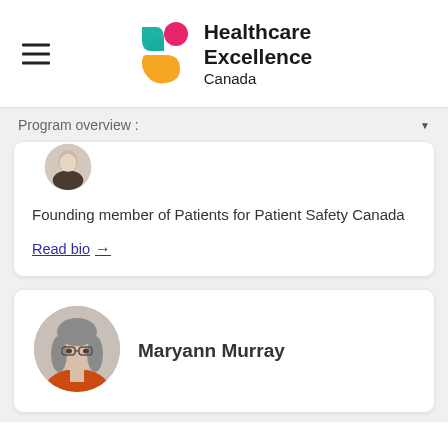[Figure (logo): Healthcare Excellence Canada logo with teal, pink, and orange abstract shapes and bold text]
Program overview :
[Figure (photo): Circular cropped portrait photo of a woman, partially visible at top]
Founding member of Patients for Patient Safety Canada
Read bio →
[Figure (photo): Circular portrait of Maryann Murray, a woman with gray hair and glasses wearing an orange top]
Maryann Murray